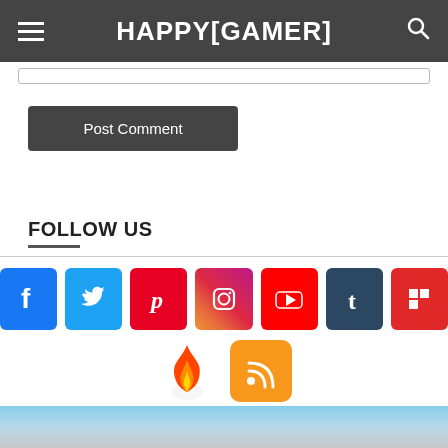HAPPYGAMER
[Figure (screenshot): Post Comment button (dark grey rounded rectangle)]
FOLLOW US
[Figure (infographic): Social media icons row: Facebook, Twitter, Pinterest, Instagram, YouTube, Tumblr, Flipboard, plus Stumbleupon/fire and RSS feed icons]
RECENT POSTS
[Figure (photo): Partial game screenshot at bottom showing sky and objects]